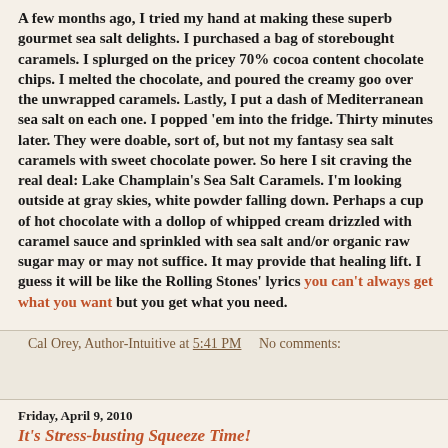A few months ago, I tried my hand at making these superb gourmet sea salt delights. I purchased a bag of storebought caramels. I splurged on the pricey 70% cocoa content chocolate chips. I melted the chocolate, and poured the creamy goo over the unwrapped caramels. Lastly, I put a dash of Mediterranean sea salt on each one. I popped 'em into the fridge. Thirty minutes later. They were doable, sort of, but not my fantasy sea salt caramels with sweet chocolate power. So here I sit craving the real deal: Lake Champlain's Sea Salt Caramels. I'm looking outside at gray skies, white powder falling down. Perhaps a cup of hot chocolate with a dollop of whipped cream drizzled with caramel sauce and sprinkled with sea salt and/or organic raw sugar may or may not suffice. It may provide that healing lift. I guess it will be like the Rolling Stones' lyrics you can't always get what you want but you get what you need.
Cal Orey, Author-Intuitive at 5:41 PM   No comments:
Friday, April 9, 2010
It's Stress-busting Squeeze Time!